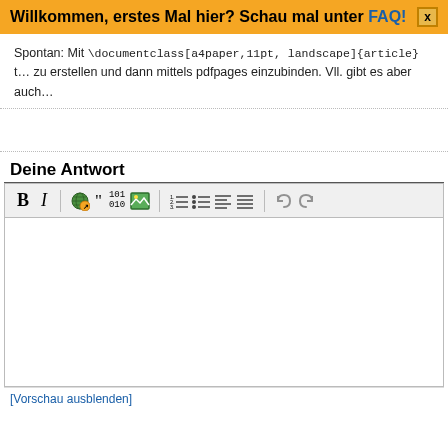Willkommen, erstes Mal hier? Schau mal unter FAQ! [x]
Spontan: Mit \documentclass[a4paper,11pt, landscape]{article} t… zu erstellen und dann mittels pdfpages einzubinden. Vll. gibt es aber auch…
Deine Antwort
[Figure (screenshot): Text editor toolbar with formatting buttons: Bold (B), Italic (I), link globe icon, quote marks, code (101/010), image icon, vertical separator, numbered list, bullet list, align-left, align-justify, vertical separator, undo, redo]
[empty editor area]
[Vorschau ausblenden]